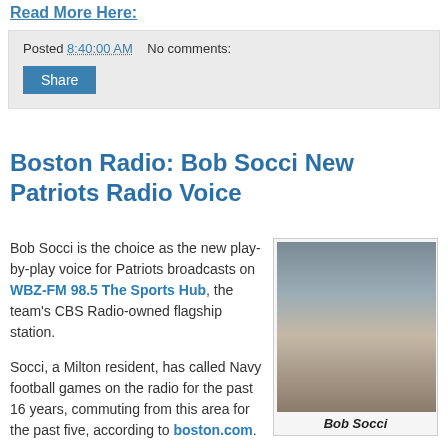Read More Here:
Posted 8:40:00 AM   No comments:
Share
Boston Radio: Bob Socci New Patriots Radio Voice
Bob Socci is the choice as the new play-by-play voice for Patriots broadcasts on WBZ-FM 98.5 The Sports Hub, the team's CBS Radio-owned flagship station.

Socci, a Milton resident, has called Navy football games on the radio for the past 16 years, commuting from this area for the past five, according to boston.com.
[Figure (photo): Professional headshot of Bob Socci, a man with dark hair and glasses wearing a suit with light blue shirt, smiling.]
Bob Socci